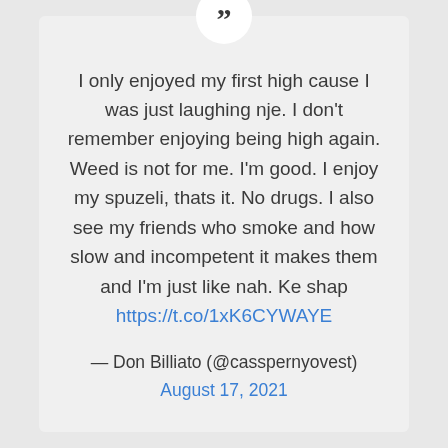I only enjoyed my first high cause I was just laughing nje. I don't remember enjoying being high again. Weed is not for me. I'm good. I enjoy my spuzeli, thats it. No drugs. I also see my friends who smoke and how slow and incompetent it makes them and I'm just like nah. Ke shap https://t.co/1xK6CYWAYE
— Don Billiato (@casspernyovest) August 17, 2021